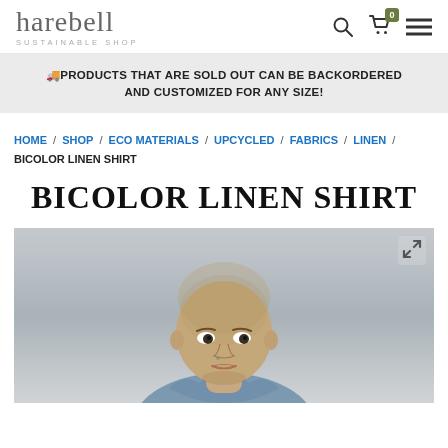harebell SUSTAINABLE SHOP — search, cart (0), menu
🚚 PRODUCTS THAT ARE SOLD OUT CAN BE BACKORDERED AND CUSTOMIZED FOR ANY SIZE!
HOME / SHOP / ECO MATERIALS / UPCYCLED / FABRICS / LINEN / BICOLOR LINEN SHIRT
BICOLOR LINEN SHIRT
[Figure (photo): A model with a shaved head, photographed from the shoulders up against a blurred grey/blue outdoor background, wearing what appears to be a denim or linen shirt. An expand/fullscreen icon appears in the upper right corner of the image.]